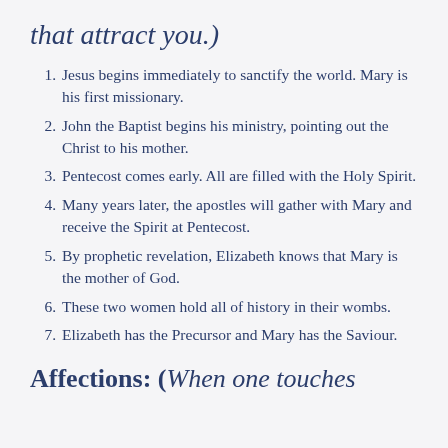that attract you.)
Jesus begins immediately to sanctify the world. Mary is his first missionary.
John the Baptist begins his ministry, pointing out the Christ to his mother.
Pentecost comes early. All are filled with the Holy Spirit.
Many years later, the apostles will gather with Mary and receive the Spirit at Pentecost.
By prophetic revelation, Elizabeth knows that Mary is the mother of God.
These two women hold all of history in their wombs.
Elizabeth has the Precursor and Mary has the Saviour.
Affections: (When one touches